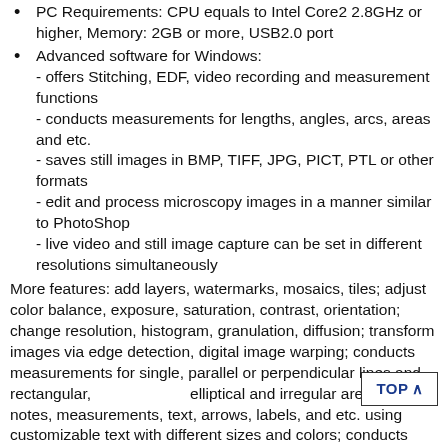PC Requirements: CPU equals to Intel Core2 2.8GHz or higher, Memory: 2GB or more, USB2.0 port
Advanced software for Windows:
- offers Stitching, EDF, video recording and measurement functions
- conducts measurements for lengths, angles, arcs, areas and etc.
- saves still images in BMP, TIFF, JPG, PICT, PTL or other formats
- edit and process microscopy images in a manner similar to PhotoShop
- live video and still image capture can be set in different resolutions simultaneously
More features: add layers, watermarks, mosaics, tiles; adjust color balance, exposure, saturation, contrast, orientation; change resolution, histogram, granulation, diffusion; transform images via edge detection, digital image warping; conducts measurements for single, parallel or perpendicular lines and rectangular, elliptical and irregular areas; adds notes, measurements, text, arrows, labels, and etc. using customizable text with different sizes and colors; conducts measurements in microns, millimeters, centimeters, inches, feet, and etc. under any